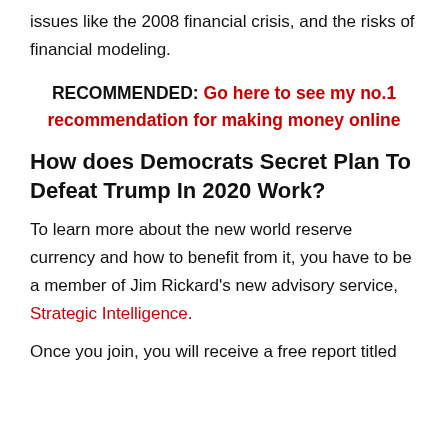issues like the 2008 financial crisis, and the risks of financial modeling.
RECOMMENDED: Go here to see my no.1 recommendation for making money online
How does Democrats Secret Plan To Defeat Trump In 2020 Work?
To learn more about the new world reserve currency and how to benefit from it, you have to be a member of Jim Rickard's new advisory service, Strategic Intelligence.
Once you join, you will receive a free report titled